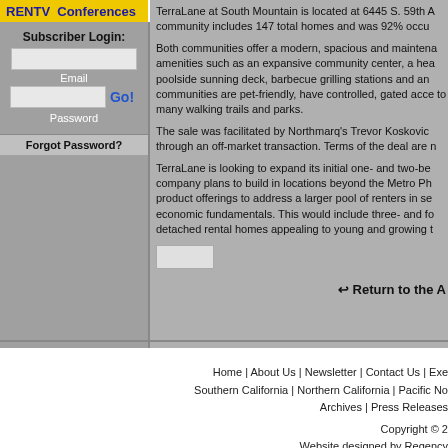RENTV Conferences
TerraLane at South Mountain is located at 6445 S. 59th A community includes 147 total homes and was 92% occu
Both communities offer a modern, spacious and maintena amenities such as an expansive community center, a hea poolside sunning deck, barbecue grilling stations and an communities are pet-friendly, have controlled, gated acce to many walking trails and parks.
The sale was facilitated by Northmarq's Trevor Koskovic through an off-market transaction. Terms of the deal are n
TerraLane is looking to expand its initial one- and two-be company plans to build in locations beyond the Metro Ph product offerings to address a larger pool of renters in se economic fundamentals. This would include three- and fo detached rental homes appealing to young and growing t
Return to the A
Home | About Us | Newsletter | Contact Us | Exe Southern California | Northern California | Pacific No Archives | Press Releases
Copyright © 2
Website designed by Regency